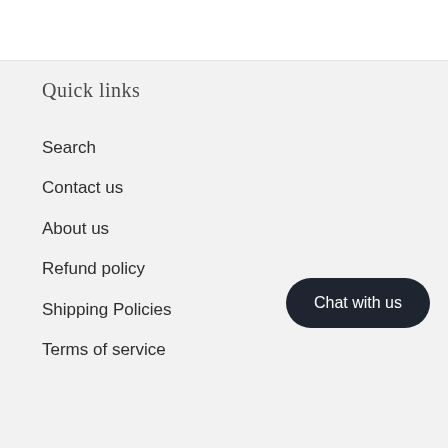Quick links
Search
Contact us
About us
Refund policy
Shipping Policies
Terms of service
Chat with us